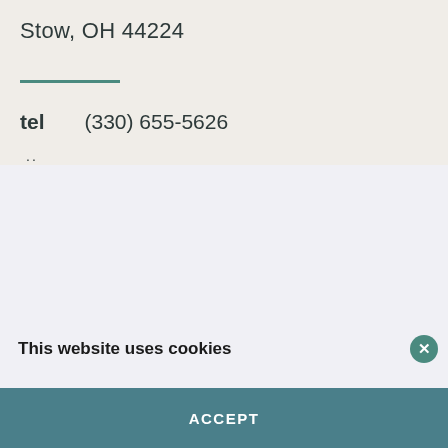Stow, OH 44224
tel    (330) 655-5626
This website uses cookies
We use cookies to enhance your browsing experience, and analyze site traffic. By continuing to browse or closing this banner, you consent to our use of cookies.
Privacy Policy | Cookie Policy | Do Not Sell My Personal Information
Show details >
ACCEPT